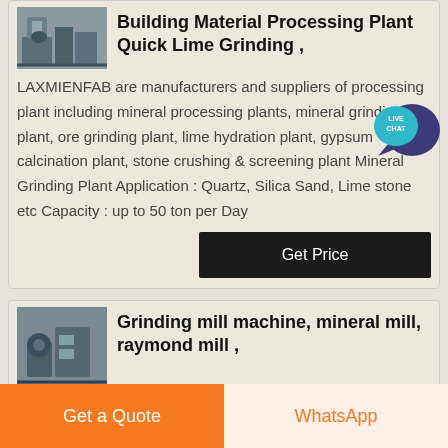[Figure (photo): Industrial building material processing plant / quick lime grinding machinery photo]
Building Material Processing Plant Quick Lime Grinding ,
LAXMIENFAB are manufacturers and suppliers of processing plant including mineral processing plants, mineral grinding plant, ore grinding plant, lime hydration plant, gypsum calcination plant, stone crushing & screening plant Mineral Grinding Plant Application : Quartz, Silica Sand, Lime stone etc Capacity : up to 50 ton per Day
[Figure (illustration): Live Chat speech bubble icon]
[Figure (photo): Grinding mill machine, mineral mill, raymond mill machinery photo]
Grinding mill machine, mineral mill, raymond mill ,
grinding mills and complete plants that are widely used in
Get a Quote
WhatsApp